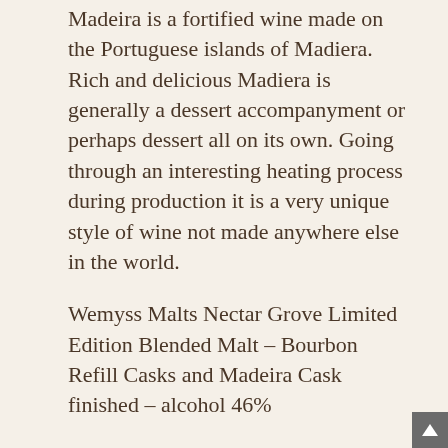Madeira is a fortified wine made on the Portuguese islands of Madiera. Rich and delicious Madiera is generally a dessert accompanyment or perhaps dessert all on its own. Going through an interesting heating process during production it is a very unique style of wine not made anywhere else in the world.
Wemyss Malts Nectar Grove Limited Edition Blended Malt – Bourbon Refill Casks and Madeira Cask finished – alcohol 46%
Colour:         Seems to have picked up an orange hue from the Madiera cask. Almost looks like Grand Marnier.
Nose:           Goo Gone – that fantastic orange oil product that you use to remove sticky labels from